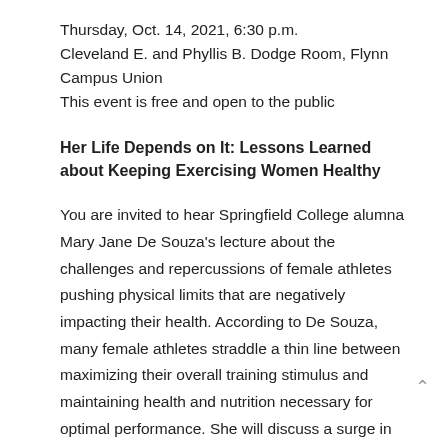Thursday, Oct. 14, 2021, 6:30 p.m.
Cleveland E. and Phyllis B. Dodge Room, Flynn Campus Union
This event is free and open to the public
Her Life Depends on It: Lessons Learned about Keeping Exercising Women Healthy
You are invited to hear Springfield College alumna Mary Jane De Souza's lecture about the challenges and repercussions of female athletes pushing physical limits that are negatively impacting their health. According to De Souza, many female athletes straddle a thin line between maximizing their overall training stimulus and maintaining health and nutrition necessary for optimal performance. She will discuss a surge in